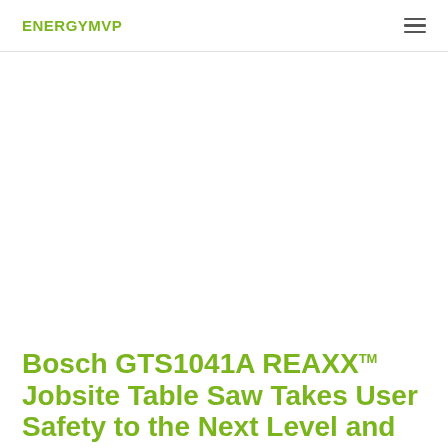ENERGYMVP
[Figure (photo): Large white/empty image area (product image area, appears blank in this rendering)]
Bosch GTS1041A REAXX™ Jobsite Table Saw Takes User Safety to the Next Level and also Saves the Blade